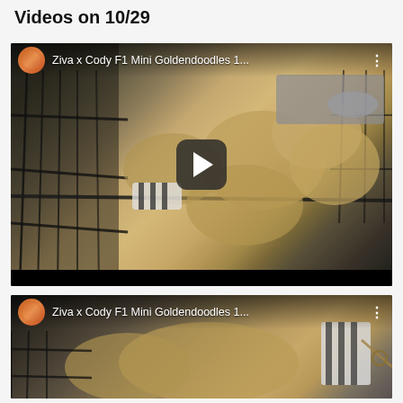Videos on 10/29
[Figure (screenshot): Video thumbnail showing puppies (Ziva x Cody F1 Mini Goldendoodles) in a wire playpen/cage. Title overlay reads 'Ziva x Cody F1 Mini Goldendoodles 1...' with a play button in the center. Small avatar of a orange dog visible top-left.]
[Figure (screenshot): Second video thumbnail (partial view, cropped) showing a puppy (Ziva x Cody F1 Mini Goldendoodles 1...) with a zebra-striped toy visible. Same channel avatar top-left.]